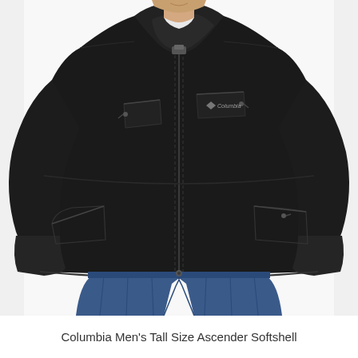[Figure (photo): A man wearing a black Columbia Men's Tall Size Ascender Softshell jacket, zipped up, with the Columbia logo visible on the chest. He is also wearing blue jeans. The photo is cropped to show from roughly the chin down to mid-thigh, with the man smiling slightly.]
Columbia Men's Tall Size Ascender Softshell